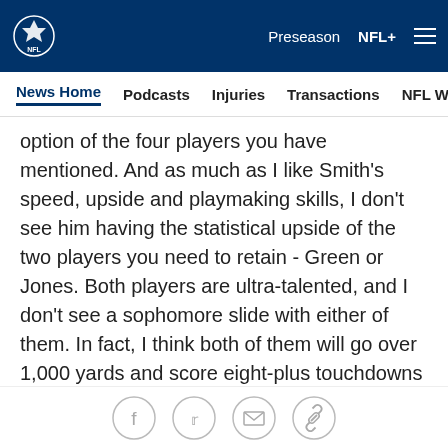NFL | Preseason  NFL+
News Home  Podcasts  Injuries  Transactions  NFL Writers  Se
option of the four players you have mentioned. And as much as I like Smith's speed, upside and playmaking skills, I don't see him having the statistical upside of the two players you need to retain - Green or Jones. Both players are ultra-talented, and I don't see a sophomore slide with either of them. In fact, I think both of them will go over 1,000 yards and score eight-plus touchdowns in 2012. With age and potential on their side. Green and Jones will give you a nice one-two punch -- and you won't be losing a draft pick until Round 9.
I saw a report that Beanie Wells had knee surgery